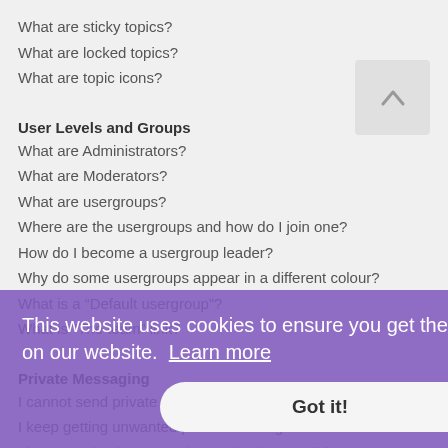What are sticky topics?
What are locked topics?
What are topic icons?
User Levels and Groups
What are Administrators?
What are Moderators?
What are usergroups?
Where are the usergroups and how do I join one?
How do I become a usergroup leader?
Why do some usergroups appear in a different colour?
What is a “Default usergroup”?
What is “The team” link?
Private Messaging
I cannot send private messages!
I keep getting unwanted private messages!
I have received a spamming or abusive email from someone on this board!
Friends and Foes
What are my Friends and Foes lists?
How can I add / remove users to my Friends or Foes list?
Searching the Forums
How can I search a forum or forums?
Why does my search return no results?
Why does my search return a blank page!?
[Figure (other): Cookie consent banner overlay with purple background, text 'This website uses cookies to ensure you get the best experience on our website. Learn more' and a 'Got it!' button]
[Figure (other): Scroll-to-top button (upward chevron arrow) in gray, positioned top-right]